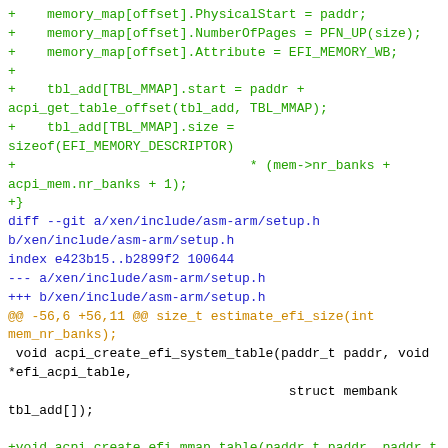Code diff showing memory_map and tbl_add assignments, and a git diff for xen/include/asm-arm/setup.h adding acpi_create_efi_mmap_table function declaration.